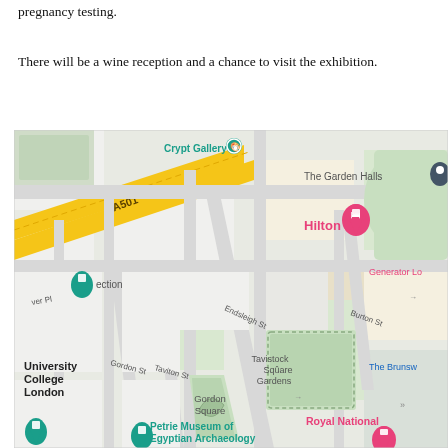pregnancy testing.
There will be a wine reception and a chance to visit the exhibition.
[Figure (map): Google Maps screenshot showing the area around University College London, including streets such as Gordon St, Taviton St, Endsleigh St, Burton St, A501 road, and landmarks including Crypt Gallery, The Garden Halls, Hilton hotel, Tavistock Square Gardens, Gordon Square, Petrie Museum of Egyptian Archaeology, Generator Lo(ndon), The Brunsw(ick), Royal National hotel, and a museum marker labeled 'ection'.]